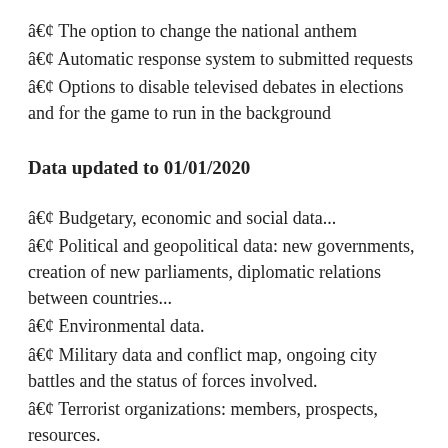• The option to change the national anthem
• Automatic response system to submitted requests
• Options to disable televised debates in elections and for the game to run in the background
Data updated to 01/01/2020
• Budgetary, economic and social data...
• Political and geopolitical data: new governments, creation of new parliaments, diplomatic relations between countries...
• Environmental data.
• Military data and conflict map, ongoing city battles and the status of forces involved.
• Terrorist organizations: members, prospects, resources.
• A new country: Eswatini
• New algorithm for name creation based on language...